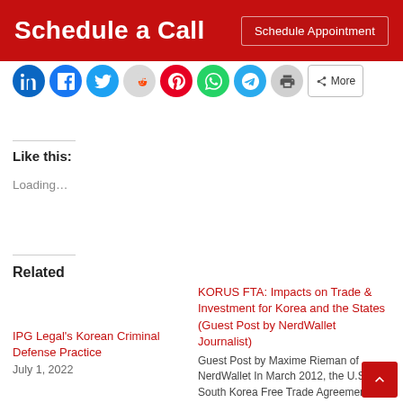Schedule a Call | Schedule Appointment
[Figure (other): Social sharing icon buttons row: LinkedIn, Facebook, Twitter, Reddit, Pinterest, WhatsApp, Telegram, Print, More]
Like this:
Loading…
Related
IPG Legal's Korean Criminal Defense Practice
July 1, 2022
KORUS FTA: Impacts on Trade & Investment for Korea and the States (Guest Post by NerdWallet Journalist)
Guest Post by Maxime Rieman of NerdWallet In March 2012, the U.S.-South Korea Free Trade Agreement (KORUS FTA)…